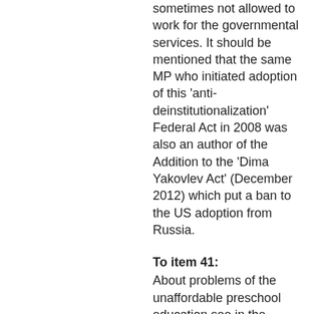sometimes not allowed to work for the governmental services. It should be mentioned that the same MP who initiated adoption of this 'anti-deinstitutionalization' Federal Act in 2008 was also an author of the Addition to the 'Dima Yakovlev Act' (December 2012) which put a ban to the US adoption from Russia.
To item 41:
About problems of the unaffordable preschool education see in the comments to items 15, 16.
To item 42:
On the 1 September 2009 President Dmitry Medvedev issued the Decree on establishing the position/office of the Presidential Commissioner for Children's Rights, with the same